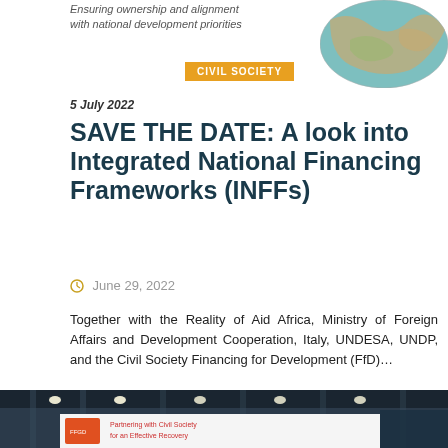Ensuring ownership and alignment with national development priorities
[Figure (photo): Globe map photo showing world map]
CIVIL SOCIETY
5 July 2022
SAVE THE DATE: A look into Integrated National Financing Frameworks (INFFs)
June 29, 2022
Together with the Reality of Aid Africa, Ministry of Foreign Affairs and Development Cooperation, Italy, UNDESA, UNDP, and the Civil Society Financing for Development (FfD)…
READ MORE
[Figure (photo): Interior conference hall photo showing ceiling lights and a banner reading 'Partnering with Civil Society for an Effective Recovery']